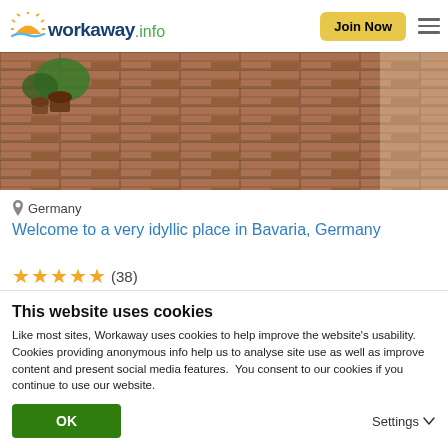workaway.info — Join Now
[Figure (photo): Brick paving / terrace with potted plants in background, hero image for a Workaway listing in Bavaria Germany]
Germany
Welcome to a very idyllic place in Bavaria, Germany
★★★★★ (38)
[Figure (photo): Second listing photo, partially visible, with a blue heart/favorite icon in the top right]
This website uses cookies
Like most sites, Workaway uses cookies to help improve the website's usability. Cookies providing anonymous info help us to analyse site use as well as improve content and present social media features.  You consent to our cookies if you continue to use our website.
OK    Settings ▾